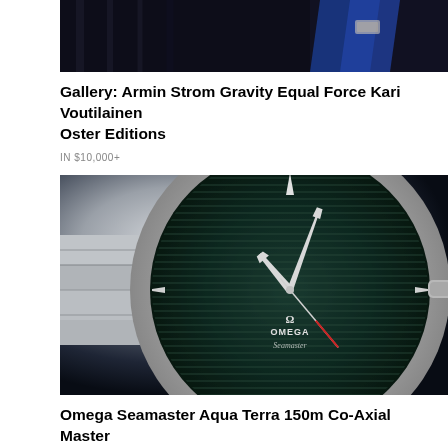[Figure (photo): Close-up photo of a watch with dark background and blue leather strap visible at top]
Gallery: Armin Strom Gravity Equal Force Kari Voutilainen Oster Editions
IN $10,000+
[Figure (photo): Close-up macro photo of Omega Seamaster watch face showing dark teal dial with horizontal lines, silver arrow hands, and Omega Seamaster branding]
Omega Seamaster Aqua Terra 150m Co-Axial Master